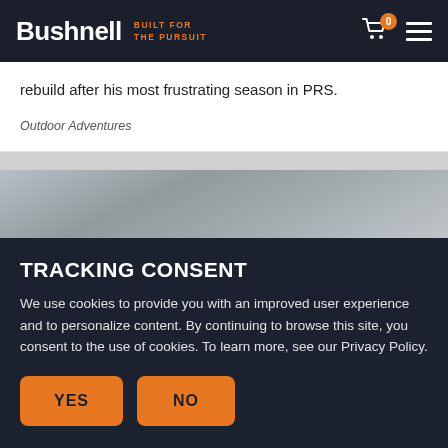Bushnell — BUILT FOR THE PURSUIT
rebuild after his most frustrating season in PRS.
Outdoor Adventures
[Figure (photo): Partial view of a cloudy sky outdoor scene]
TRACKING CONSENT
We use cookies to provide you with an improved user experience and to personalize content. By continuing to browse this site, you consent to the use of cookies. To learn more, see our Privacy Policy.
YES   NO